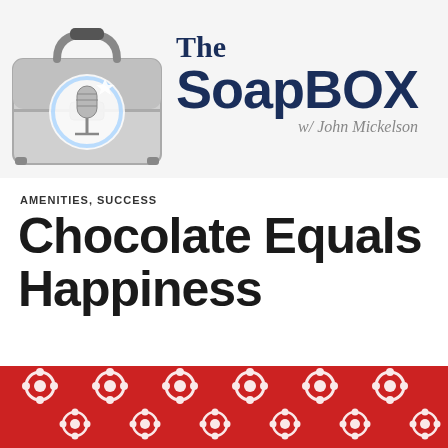[Figure (logo): The SoapBox with John Mickelson podcast logo featuring a briefcase with a microphone inside a glowing circle, and bold navy blue text reading 'The SoapBox w/ John Mickelson']
AMENITIES, SUCCESS
Chocolate Equals Happiness
[Figure (photo): Red background with white decorative lace or floral pattern, partially visible at the bottom of the page]